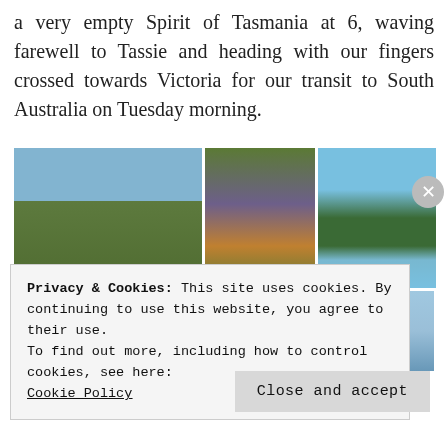a very empty Spirit of Tasmania at 6, waving farewell to Tassie and heading with our fingers crossed towards Victoria for our transit to South Australia on Tuesday morning.
[Figure (photo): A grid of six photos: top row shows a person standing on a grassy hillside with blue sky, a close-up of a bird on purple flowers, and a panoramic coastal town view from a green hillside. Bottom row shows hands near a window/door and a plain blue-grey sky.]
Privacy & Cookies: This site uses cookies. By continuing to use this website, you agree to their use.
To find out more, including how to control cookies, see here: Cookie Policy
Close and accept